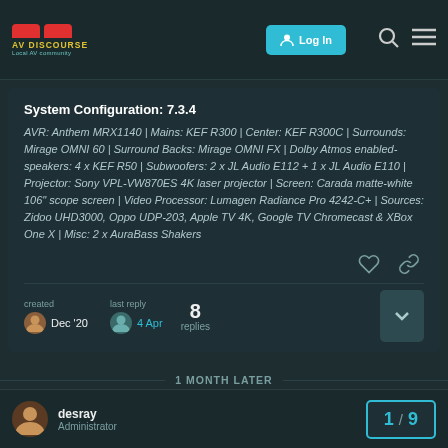AV DISCOURSE | Local AV community | Log In
System Configuration: 7.3.4
AVR: Anthem MRX1140 | Mains: KEF R300 | Center: KEF R300C | Surrounds: Mirage OMNI 60 | Surround Backs: Mirage OMNI FX | Dolby Atmos enabled-speakers: 4 x KEF R50 | Subwoofers: 2 x JL Audio E112 + 1 x JL Audio E110 | Projector: Sony VPL-VW870ES 4K laser projector | Screen: Carada matte-white 106" scope screen | Video Processor: Lumagen Radiance Pro 4242-C+ | Sources: Zidoo UHD3000, Oppo UDP-203, Apple TV 4K, Google TV Chromecast & XBox One X | Misc: 2 x AuraBass Shakers
created Dec '20 | last reply 4 Apr | 8 replies
1 MONTH LATER
desray | Administrator | 1 / 9